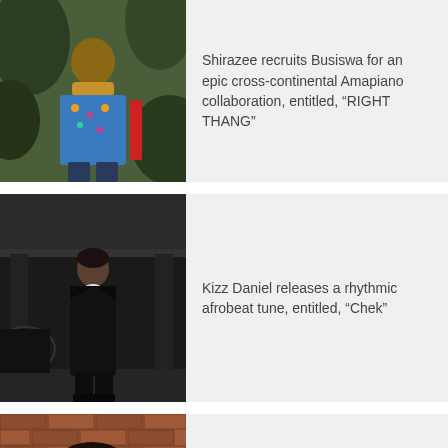[Figure (photo): Man in colorful patterned shirt seated among tropical plants]
Shirazee recruits Busiswa for an epic cross-continental Amapiano collaboration, entitled, “RIGHT THANG”
[Figure (photo): Man in black leather coat standing in dark urban setting, black and white photo]
Kizz Daniel releases a rhythmic afrobeat tune, entitled, “Chek”
[Figure (photo): Young man with beard in front of brick wall]
Jeff Moes unveils an appealing